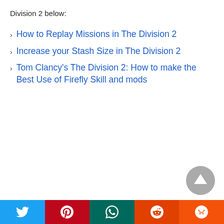Division 2 below:
How to Replay Missions in The Division 2
Increase your Stash Size in The Division 2
Tom Clancy's The Division 2: How to make the Best Use of Firefly Skill and mods